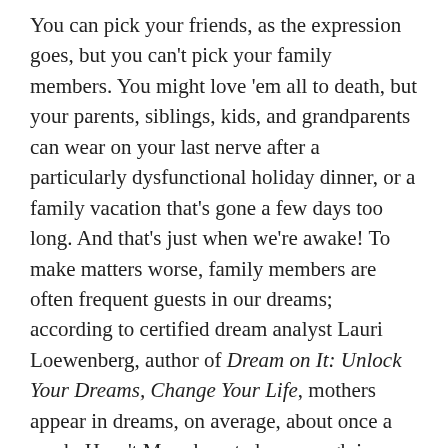You can pick your friends, as the expression goes, but you can't pick your family members. You might love 'em all to death, but your parents, siblings, kids, and grandparents can wear on your last nerve after a particularly dysfunctional holiday dinner, or a family vacation that's gone a few days too long. And that's just when we're awake! To make matters worse, family members are often frequent guests in our dreams; according to certified dream analyst Lauri Loewenberg, author of Dream on It: Unlock Your Dreams, Change Your Life, mothers appear in dreams, on average, about once a week. Hasn't Mom haunted us enough in our waking life?
In fact, though, your dream about your mother